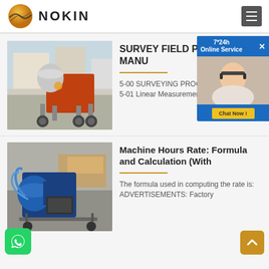NOKIN
SURVEY FIELD PROCEDURES MANU
5-00 SURVEYING PROCEDURES
5-01 Linear Measurement A. General
Machine Hours Rate: Formula and Calculation (With
The formula used in computing the rate is: ADVERTISEMENTS: Factory